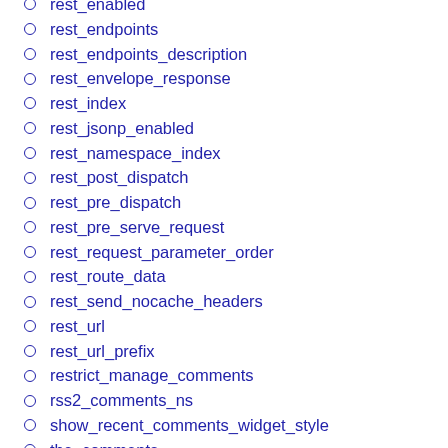rest_enabled
rest_endpoints
rest_endpoints_description
rest_envelope_response
rest_index
rest_jsonp_enabled
rest_namespace_index
rest_post_dispatch
rest_pre_dispatch
rest_pre_serve_request
rest_request_parameter_order
rest_route_data
rest_send_nocache_headers
rest_url
rest_url_prefix
restrict_manage_comments
rss2_comments_ns
show_recent_comments_widget_style
the_comments
thread_comments_depth_max
trash_post_comments
trashed_post_comments
untrash_post_comments
untrashed_post_comments
widget_comments_args